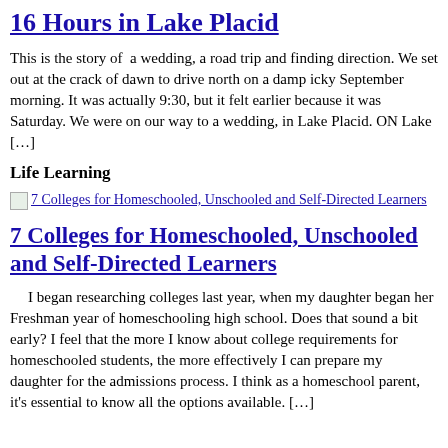16 Hours in Lake Placid
This is the story of  a wedding, a road trip and finding direction. We set out at the crack of dawn to drive north on a damp icky September morning. It was actually 9:30, but it felt earlier because it was Saturday. We were on our way to a wedding, in Lake Placid. ON Lake […]
Life Learning
[Figure (other): Thumbnail image link for article: 7 Colleges for Homeschooled, Unschooled and Self-Directed Learners]
7 Colleges for Homeschooled, Unschooled and Self-Directed Learners
I began researching colleges last year, when my daughter began her Freshman year of homeschooling high school. Does that sound a bit early? I feel that the more I know about college requirements for homeschooled students, the more effectively I can prepare my daughter for the admissions process. I think as a homeschool parent, it's essential to know all the options available. […]